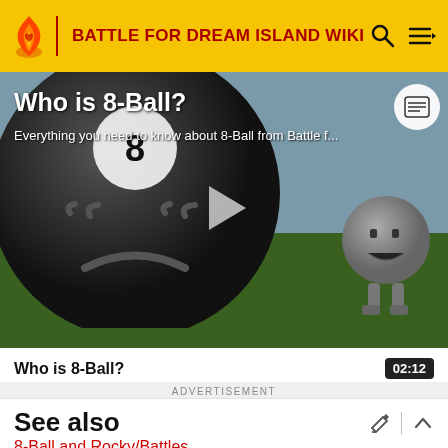BATTLE FOR DREAM ISLAND WIKI
[Figure (screenshot): Video thumbnail showing a large black 8-Ball character with a sad face on the left, and a gray Rock character on the right, with text 'Who is 8-Ball?' and subtitle 'Everything you need to know about 8-Ball from Battle f...' and a play button in the center]
Who is 8-Ball?  02:12
ADVERTISEMENT
See also
8-Ball and Rocky/Battles